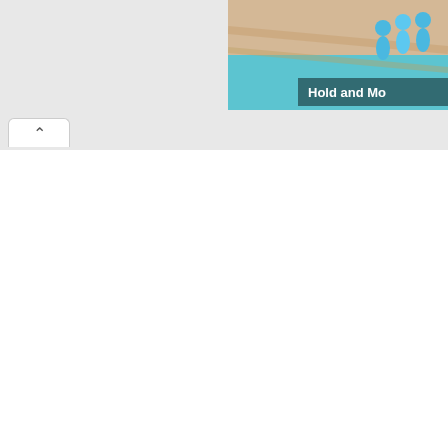[Figure (screenshot): Partial screenshot of a website header showing a colorful image with text 'Hold and Mo...' (truncated) and blue avatar figures on a sandy/teal background]
All materials on the site are licensed Creative Commons Attribution-Sharealike 3.0 Unported CC BY-SA 3.0 & GNU Free Documentation License (GFDL)
If you are the copyright holder of any material contained on our site and intend to remove it, please contact our site administrator for approval.
© 2016-2022 All site design rights belong to S.Y.A.